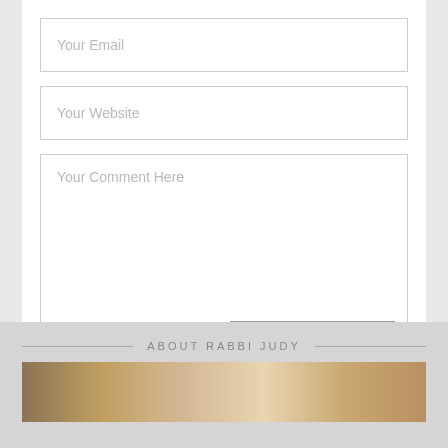Your Email
Your Website
Your Comment Here
SUBMIT COMMENT
ABOUT RABBI JUDY
[Figure (photo): Partial photo strip visible at bottom of page, showing Rabbi Judy]